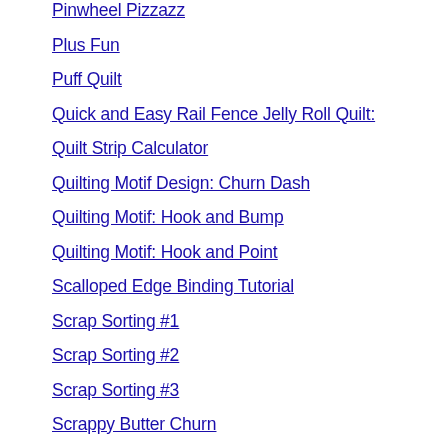Pinwheel Pizzazz
Plus Fun
Puff Quilt
Quick and Easy Rail Fence Jelly Roll Quilt:
Quilt Strip Calculator
Quilting Motif Design: Churn Dash
Quilting Motif: Hook and Bump
Quilting Motif: Hook and Point
Scalloped Edge Binding Tutorial
Scrap Sorting #1
Scrap Sorting #2
Scrap Sorting #3
Scrappy Butter Churn
Scrappy Star Baby Quilt
Self Sashing Disappearing Nine Patch Quil
Six Pointed Star Table Mat
Snowflake Centerpiece
Snowman Table Runner